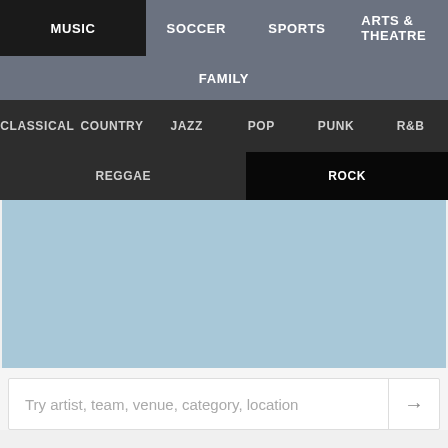MUSIC  SOCCER  SPORTS  ARTS & THEATRE  FAMILY
CLASSICAL  COUNTRY  JAZZ  POP  PUNK  R&B  REGGAE  ROCK
[Figure (other): Light blue content/placeholder area]
Try artist, team, venue, category, location
Share this page